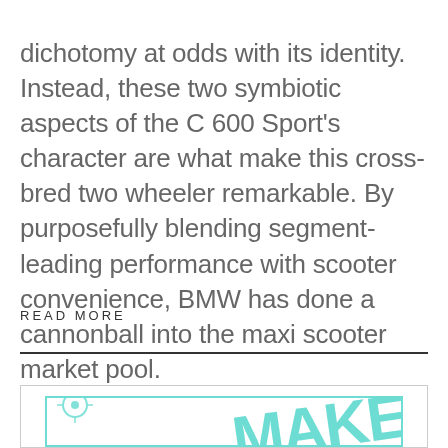dichotomy at odds with its identity. Instead, these two symbiotic aspects of the C 600 Sport's character are what make this cross-bred two wheeler remarkable. By purposefully blending segment-leading performance with scooter convenience, BMW has done a cannonball into the maxi scooter market pool.
READ MORE
[Figure (illustration): Partially visible image inside a teal/mint bordered box showing the word MAKE in large teal diagonal text with a small icon graphic to the left]